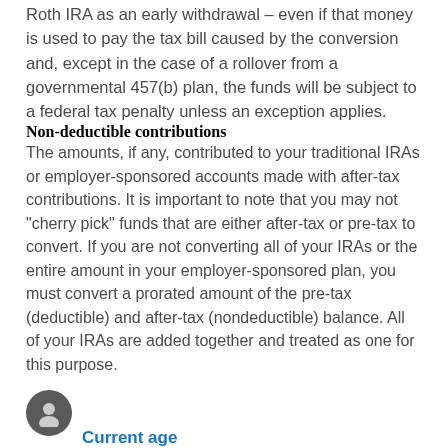Roth IRA as an early withdrawal – even if that money is used to pay the tax bill caused by the conversion and, except in the case of a rollover from a governmental 457(b) plan, the funds will be subject to a federal tax penalty unless an exception applies.
Non-deductible contributions
The amounts, if any, contributed to your traditional IRAs or employer-sponsored accounts made with after-tax contributions. It is important to note that you may not "cherry pick" funds that are either after-tax or pre-tax to convert. If you are not converting all of your IRAs or the entire amount in your employer-sponsored plan, you must convert a prorated amount of the pre-tax (deductible) and after-tax (nondeductible) balance. All of your IRAs are added together and treated as one for this purpose.
Current age